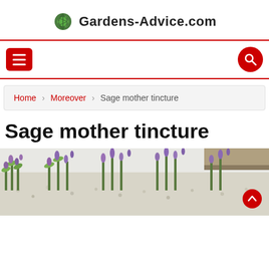Gardens-Advice.com
[Figure (screenshot): Navigation bar with red hamburger menu button on left and red circular search button on right, with red top and bottom borders]
Home › Moreover › Sage mother tincture
Sage mother tincture
[Figure (photo): Photo of purple sage flowers blooming in a garden with white gravel and a wooden border, with a red scroll-to-top button in the bottom right corner]